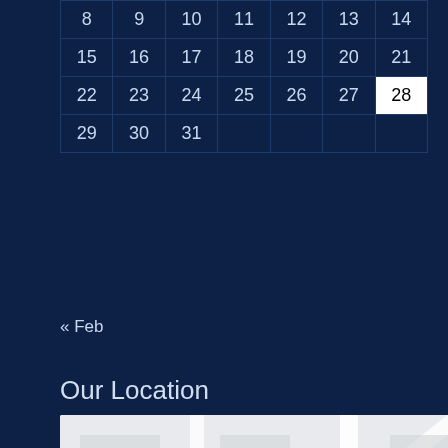| 8 | 9 | 10 | 11 | 12 | 13 | 14 |
| 15 | 16 | 17 | 18 | 19 | 20 | 21 |
| 22 | 23 | 24 | 25 | 26 | 27 | 28 |
| 29 | 30 | 31 |  |  |  |  |
« Feb
Our Location
[Figure (map): Google Maps showing MG CARE | MG CAPITAL - Service... Auto repair shop location, with nearby markers for IMT Company and PO PVT]
Our Address